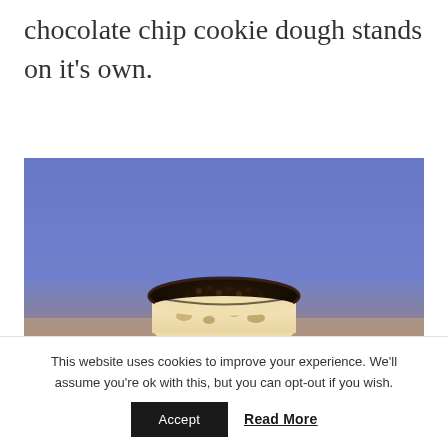chocolate chip cookie dough stands on it's own.
[Figure (photo): Photo of an Oreo ice cream sandwich against a blue/purple gradient background, showing the dark chocolate cookie top with white cream and cookie dough filling visible below.]
This website uses cookies to improve your experience. We'll assume you're ok with this, but you can opt-out if you wish.
Accept  Read More